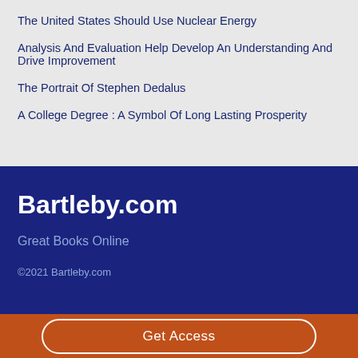The United States Should Use Nuclear Energy
Analysis And Evaluation Help Develop An Understanding And Drive Improvement
The Portrait Of Stephen Dedalus
A College Degree : A Symbol Of Long Lasting Prosperity
Bartleby.com
Great Books Online
©2021 Bartleby.com
Get Access